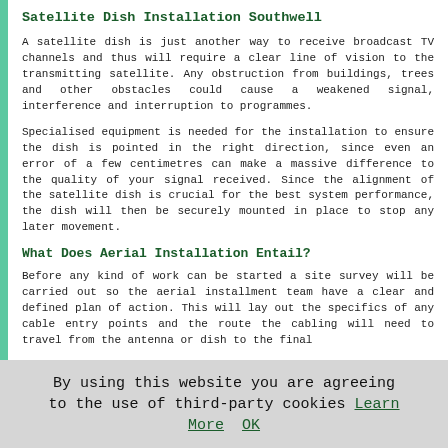Satellite Dish Installation Southwell
A satellite dish is just another way to receive broadcast TV channels and thus will require a clear line of vision to the transmitting satellite. Any obstruction from buildings, trees and other obstacles could cause a weakened signal, interference and interruption to programmes.
Specialised equipment is needed for the installation to ensure the dish is pointed in the right direction, since even an error of a few centimetres can make a massive difference to the quality of your signal received. Since the alignment of the satellite dish is crucial for the best system performance, the dish will then be securely mounted in place to stop any later movement.
What Does Aerial Installation Entail?
Before any kind of work can be started a site survey will be carried out so the aerial installment team have a clear and defined plan of action. This will lay out the specifics of any cable entry points and the route the cabling will need to travel from the antenna or dish to the final
By using this website you are agreeing to the use of third-party cookies Learn More  OK